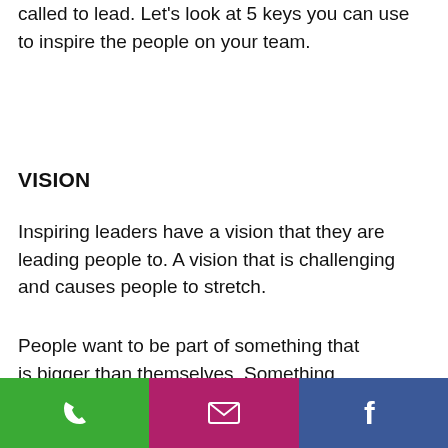called to lead.  Let's look at 5 keys you can use to inspire the people on your team.
VISION
Inspiring leaders have a vision that they are leading people to.  A vision that is challenging and causes people to stretch.
People want to be part of something that is bigger than themselves.  Something that will enable them to leave a legacy.  Something significant.
[Figure (infographic): Footer bar with three icon buttons: phone (green), email (magenta/pink), and Facebook (blue)]